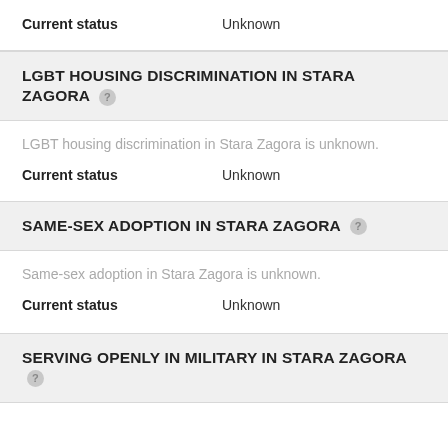Current status    Unknown
LGBT HOUSING DISCRIMINATION IN STARA ZAGORA
LGBT housing discrimination in Stara Zagora is unknown.
Current status    Unknown
SAME-SEX ADOPTION IN STARA ZAGORA
Same-sex adoption in Stara Zagora is unknown.
Current status    Unknown
SERVING OPENLY IN MILITARY IN STARA ZAGORA